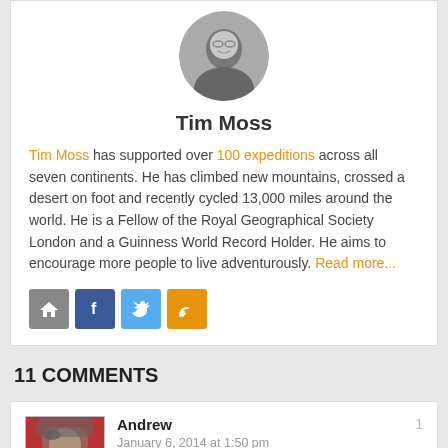[Figure (photo): Black and white headshot photo of Tim Moss, a smiling man with glasses]
Tim Moss
Tim Moss has supported over 100 expeditions across all seven continents. He has climbed new mountains, crossed a desert on foot and recently cycled 13,000 miles around the world. He is a Fellow of the Royal Geographical Society London and a Guinness World Record Holder. He aims to encourage more people to live adventurously. Read more...
[Figure (infographic): Social media icon buttons: home, Facebook, Twitter, RSS feed]
11 COMMENTS
[Figure (photo): Avatar photo of commenter Andrew, a man wearing a beanie hat and red shirt]
Andrew
January 6, 2014 at 1:50 pm
Hmm..Are you the author if this? I am